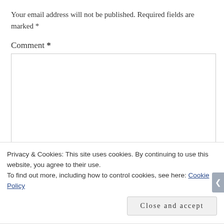Your email address will not be published. Required fields are marked *
Comment *
[Figure (screenshot): Empty comment textarea input box with resize handle]
Privacy & Cookies: This site uses cookies. By continuing to use this website, you agree to their use.
To find out more, including how to control cookies, see here: Cookie Policy
Close and accept